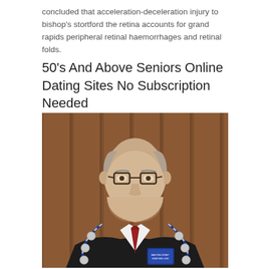concluded that acceleration-deceleration injury to bishop's stortford the retina accounts for grand rapids peripheral retinal haemorrhages and retinal folds.
50's And Above Seniors Online Dating Sites No Subscription Needed
[Figure (photo): Portrait photo of an elderly man with glasses and a white mustache, wearing a dark suit, white shirt, red tie, and a ceremonial chain/medallion necklace, standing in front of a wood-paneled wall.]